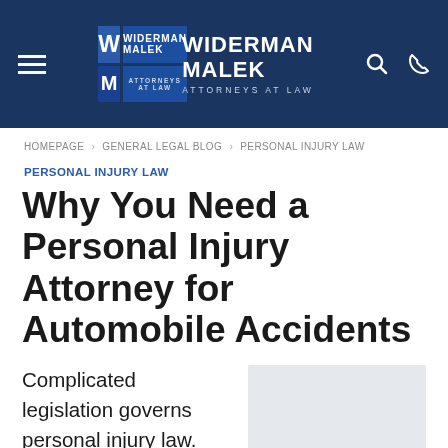Widerman Malek Attorneys at Law
HOMEPAGE > GENERAL LEGAL BLOG > PERSONAL INJURY LAW
PERSONAL INJURY LAW
Why You Need a Personal Injury Attorney for Automobile Accidents
Complicated legislation governs personal injury law. Over the last two decades, Florida has
[Figure (photo): Placeholder image area for article photo]